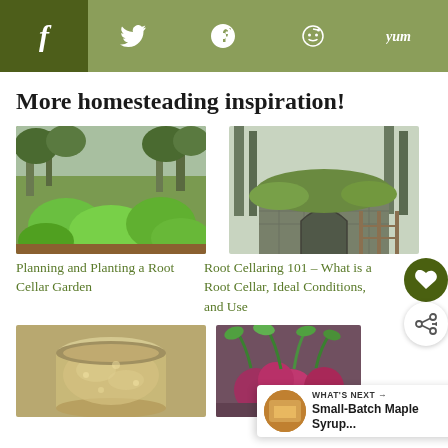Social sharing bar: Facebook, Twitter, Pinterest, Reddit, Yummly
More homesteading inspiration!
[Figure (photo): Green leafy vegetables growing in a garden with trees in background]
Planning and Planting a Root Cellar Garden
[Figure (photo): A stone root cellar structure in a forested area]
Root Cellaring 101 – What is a Root Cellar, Ideal Conditions, and Use
[Figure (photo): A jar with what appears to be fermented or preserved food]
[Figure (photo): A pile of fresh harvested beets with greens]
WHAT'S NEXT → Small-Batch Maple Syrup...